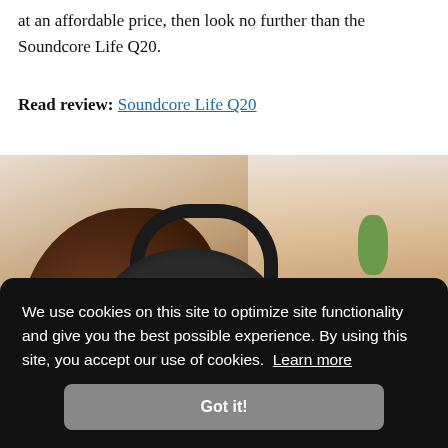at an affordable price, then look no further than the Soundcore Life Q20.
Read review: Soundcore Life Q20
[Figure (photo): Person wearing over-ear headphones viewed from behind, seated in front of a blurred background]
dget, ll over
Credit: Laura Casner
We use cookies on this site to optimize site functionality and give you the best possible experience. By using this site, you accept our use of cookies. Learn more